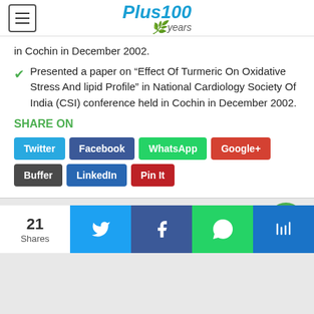[Figure (logo): Plus100years logo with hamburger menu icon]
in Cochin in December 2002.
Presented a paper on “Effect Of Turmeric On Oxidative Stress And lipid Profile” in National Cardiology Society Of India (CSI) conference held in Cochin in December 2002.
SHARE ON
Twitter Facebook WhatsApp Google+ Buffer LinkedIn Pin It
[Figure (screenshot): Thyrocare packages image placeholder]
21 Shares social share bar with Twitter, Facebook, WhatsApp icons